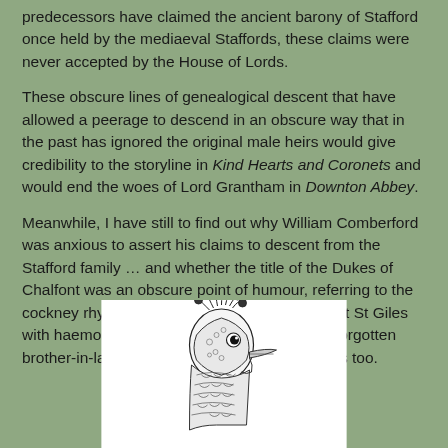predecessors have claimed the ancient barony of Stafford once held by the mediaeval Staffords, these claims were never accepted by the House of Lords.
These obscure lines of genealogical descent that have allowed a peerage to descend in an obscure way that in the past has ignored the original male heirs would give credibility to the storyline in Kind Hearts and Coronets and would end the woes of Lord Grantham in Downton Abbey.
Meanwhile, I have still to find out why William Comberford was anxious to assert his claims to descent from the Stafford family … and whether the title of the Dukes of Chalfont was an obscure point of humour, referring to the cockney rhyming slang that associates Chalfont St Giles with haemorrhoids. Perhaps Roger Stafford's forgotten brother-in-law might have thought it all cobblers too.
[Figure (illustration): Black and white illustration of a peacock's head and neck with decorative feather crown, shown in profile facing right, on a white background.]